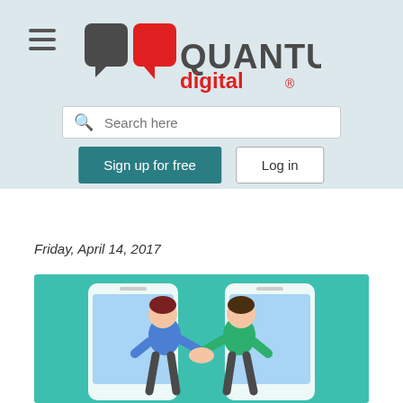[Figure (logo): QuantumDigital logo with two speech bubble icons (dark grey square and red square) and the text QUANTUM in dark grey and digital in red]
Search here
Sign up for free
Log in
Friday, April 14, 2017
[Figure (illustration): Illustration on teal background showing two cartoon characters shaking hands through smartphone screens]